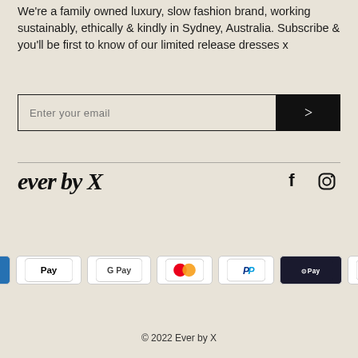We're a family owned luxury, slow fashion brand, working sustainably, ethically & kindly in Sydney, Australia. Subscribe & you'll be first to know of our limited release dresses x
Enter your email
[Figure (logo): Ever by X brand logo in bold italic serif font]
[Figure (illustration): Facebook and Instagram social media icons]
[Figure (infographic): Payment method badges: AMEX, Apple Pay, Google Pay, Mastercard, PayPal, Samsung Pay, Visa]
© 2022 Ever by X